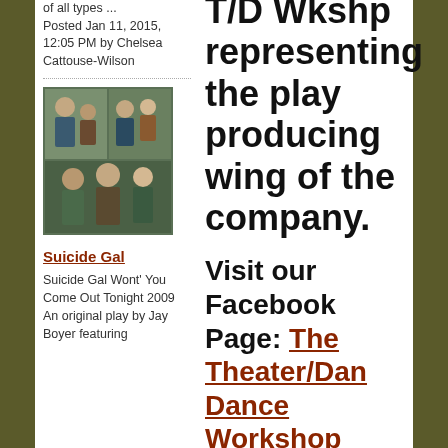Posted Jan 11, 2015, 12:05 PM by Chelsea Cattouse-Wilson
[Figure (photo): Group photo thumbnail showing multiple people]
Suicide Gal
Suicide Gal Wont' You Come Out Tonight 2009 An original play by Jay Boyer featuring
T/D Wkshp representing the play producing wing of the company.
Visit our Facebook Page: The Theater/Dance Workshop